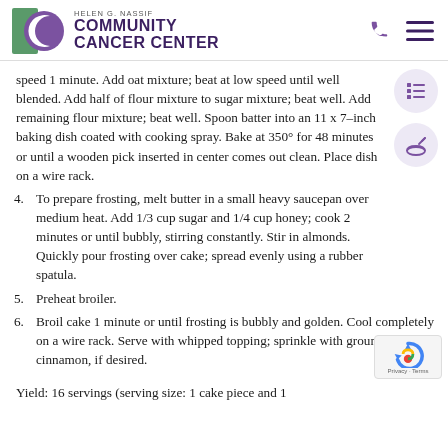Helen G. Nassif Community Cancer Center
speed 1 minute. Add oat mixture; beat at low speed until well blended. Add half of flour mixture to sugar mixture; beat well. Add remaining flour mixture; beat well. Spoon batter into an 11 x 7–inch baking dish coated with cooking spray. Bake at 350° for 48 minutes or until a wooden pick inserted in center comes out clean. Place dish on a wire rack.
4. To prepare frosting, melt butter in a small heavy saucepan over medium heat. Add 1/3 cup sugar and 1/4 cup honey; cook 2 minutes or until bubbly, stirring constantly. Stir in almonds. Quickly pour frosting over cake; spread evenly using a rubber spatula.
5. Preheat broiler.
6. Broil cake 1 minute or until frosting is bubbly and golden. Cool completely on a wire rack. Serve with whipped topping; sprinkle with ground cinnamon, if desired.
Yield:  16 servings (serving size: 1 cake piece and 1